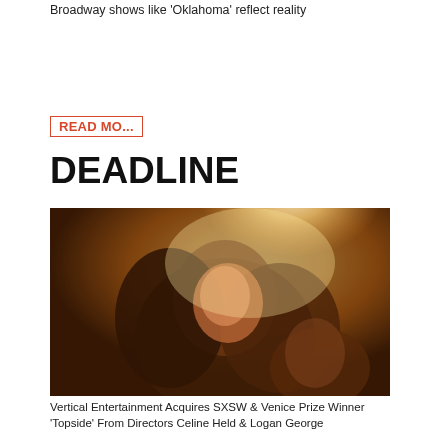Broadway shows like 'Oklahoma' reflect reality
READ MO...
DEADLINE
[Figure (photo): Cinematic still of a young woman with long dark hair, warmly backlit in an amber/golden light, close-up intimate scene]
Vertical Entertainment Acquires SXSW & Venice Prize Winner 'Topside' From Directors Celine Held & Logan George
READ MO...
[Figure (logo): Variety magazine logo in bold italic serif lettering]